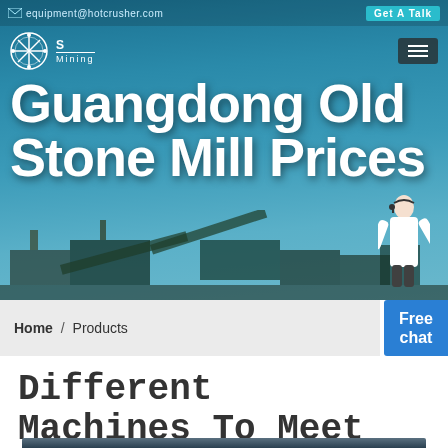equipment@hotcrusher.com   Get A Talk
[Figure (screenshot): Website hero banner for Guangdong Old Mining Stone Mill Prices with industrial mining equipment background, logo with snowflake icon, hamburger menu, and customer service advisor figure]
Guangdong Old Mining Stone Mill Prices
Home / Products
Free chat
Different Machines To Meet All Need
[Figure (photo): Interior of industrial factory/workshop with steel roof trusses and overhead lighting, showing heavy machinery]